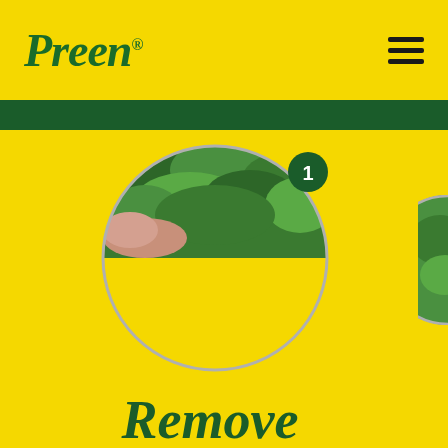[Figure (logo): Preen brand logo in dark green italic serif font on yellow background, with hamburger menu icon on right]
[Figure (infographic): Circular image frame with garden/plant photo cropped at top of circle, with green badge showing number '1', on bright yellow background. Partially visible circular garden image on far right edge. Text 'Remove' in large dark green italic font at bottom.]